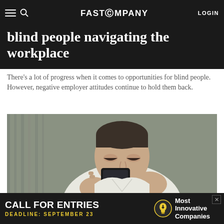FAST COMPANY  LOGIN
blind people navigating the workplace
There's a lot of progress when it comes to opportunities for blind people. However, negative employer attitudes continue to hold them back.
[Figure (photo): A man with closed eyes looking at a smartphone held close to his face, wearing a white shirt, with a blurred background]
[Image credit/source]
[Figure (infographic): Advertisement banner: CALL FOR ENTRIES, DEADLINE: SEPTEMBER 23, light bulb icon, Most Innovative Companies]